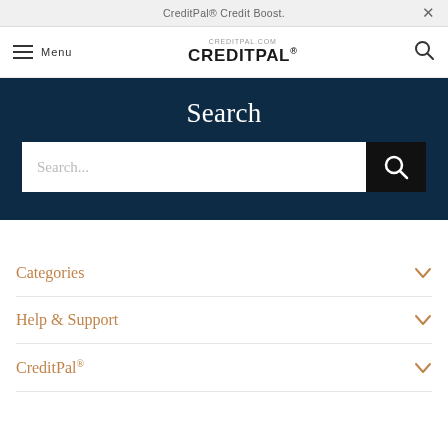CreditPal® Credit Boost.
Menu | CREDITPAL.COM CREDITPAL®
Search
Search...
Categories
Help & Support
CreditPal®